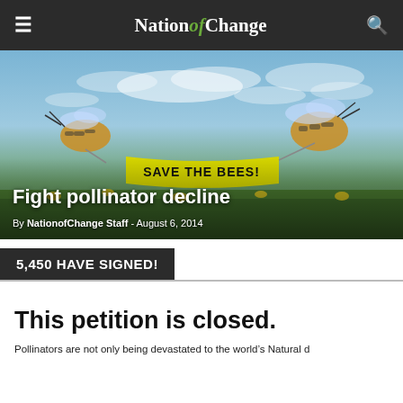Nation of Change
[Figure (photo): Two bees flying in a blue sky holding a yellow banner reading 'SAVE THE BEES!' over a field of yellow flowers]
Fight pollinator decline
By NationofChange Staff - August 6, 2014
5,450 HAVE SIGNED!
This petition is closed.
Pollinators are not only being devastated to the world's Natural d